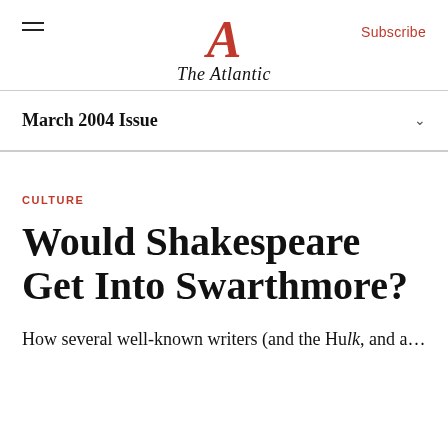The Atlantic
March 2004 Issue
CULTURE
Would Shakespeare Get Into Swarthmore?
How several well-known writers (and the Hulk, and a…) would fare on today's SAT